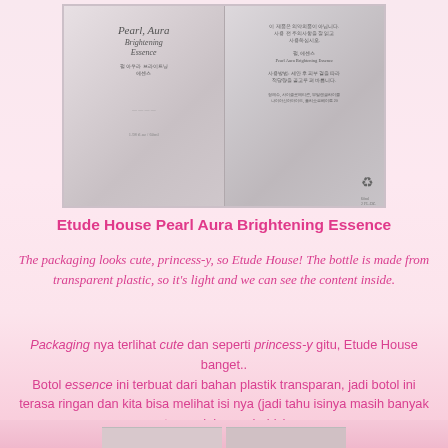[Figure (photo): Two bottles of Etude House Pearl Aura Brightening Essence shown side by side — front label on the left, back label (Korean text) on the right. Bottles are transparent plastic with frosted appearance.]
Etude House Pearl Aura Brightening Essence
The packaging looks cute, princess-y, so Etude House! The bottle is made from transparent plastic, so it's light and we can see the content inside.
Packaging nya terlihat cute dan seperti princess-y gitu, Etude House banget.. Botol essence ini terbuat dari bahan plastik transparan, jadi botol ini terasa ringan dan kita bisa melihat isi nya (jadi tahu isinya masih banyak atau sudah mau habis).